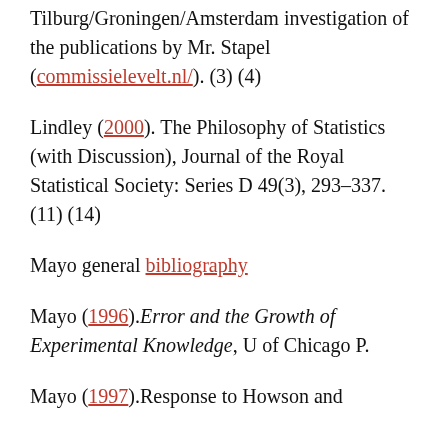Tilburg/Groningen/Amsterdam investigation of the publications by Mr. Stapel (commissielevelt.nl/). (3) (4)
Lindley (2000). The Philosophy of Statistics (with Discussion), Journal of the Royal Statistical Society: Series D 49(3), 293–337. (11) (14)
Mayo general bibliography
Mayo (1996).Error and the Growth of Experimental Knowledge, U of Chicago P.
Mayo (1997).Response to Howson and